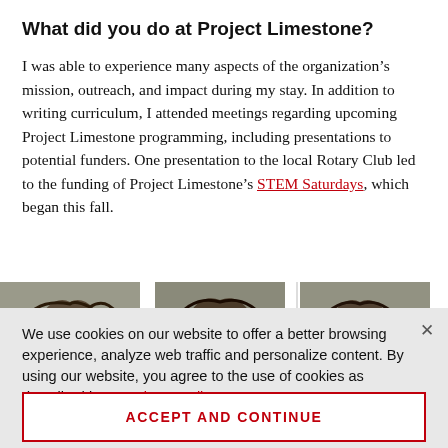What did you do at Project Limestone?
I was able to experience many aspects of the organization’s mission, outreach, and impact during my stay. In addition to writing curriculum, I attended meetings regarding upcoming Project Limestone programming, including presentations to potential funders. One presentation to the local Rotary Club led to the funding of Project Limestone’s STEM Saturdays, which began this fall.
[Figure (photo): Partial view of three photos showing tops of people's heads, cropped at the bottom of the visible page area.]
We use cookies on our website to offer a better browsing experience, analyze web traffic and personalize content. By using our website, you agree to the use of cookies as described in our Privacy policy.
ACCEPT AND CONTINUE